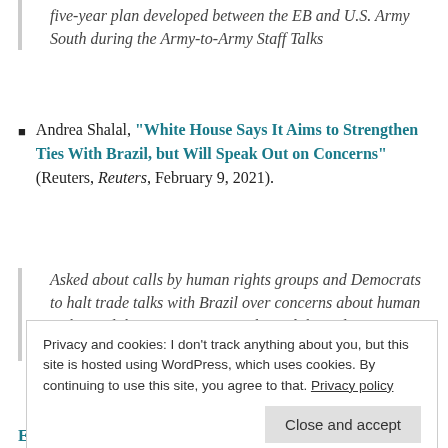five-year plan developed between the EB and U.S. Army South during the Army-to-Army Staff Talks
Andrea Shalal, "White House Says It Aims to Strengthen Ties With Brazil, but Will Speak Out on Concerns" (Reuters, Reuters, February 9, 2021).
Asked about calls by human rights groups and Democrats to halt trade talks with Brazil over concerns about human rights and the environment, Psaki said the Biden administration would not refrain from raising concerns
Privacy and cookies: I don't track anything about you, but this site is hosted using WordPress, which uses cookies. By continuing to use this site, you agree to that. Privacy policy
Extranjero Con Advertencia de Expulsion para